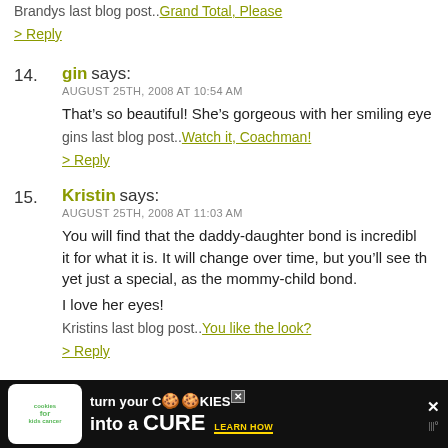Brandys last blog post..Grand Total, Please
> Reply
14. gin says: AUGUST 25TH, 2008 AT 10:54 AM
That’s so beautiful! She’s gorgeous with her smiling eye
gins last blog post..Watch it, Coachman!
> Reply
15. Kristin says: AUGUST 25TH, 2008 AT 11:03 AM
You will find that the daddy-daughter bond is incredibl it for what it is. It will change over time, but you’ll see th yet just a special, as the mommy-child bond.
I love her eyes!
Kristins last blog post..You like the look?
> Reply
[Figure (infographic): Cookies for Kids Cancer advertisement banner: green logo on white background, text 'turn your COOKIES into a CURE LEARN HOW' on black background]